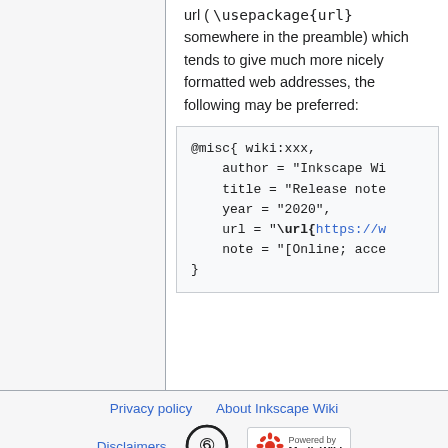url ( \usepackage{url} somewhere in the preamble) which tends to give much more nicely formatted web addresses, the following may be preferred:
[Figure (other): Code block showing BibTeX @misc entry with author, title, year, url (\url{https://w...}), note ([Online; acce...) fields]
Privacy policy   About Inkscape Wiki   Disclaimers   [copyleft logo]   Powered by MediaWiki